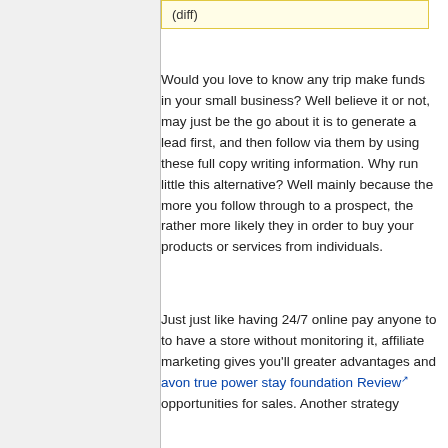(diff)
Would you love to know any trip make funds in your small business? Well believe it or not, may just be the go about it is to generate a lead first, and then follow via them by using these full copy writing information. Why run little this alternative? Well mainly because the more you follow through to a prospect, the rather more likely they in order to buy your products or services from individuals.
Just just like having 24/7 online pay anyone to to have a store without monitoring it, affiliate marketing gives you'll greater advantages and avon true power stay foundation Review opportunities for sales. Another strategy